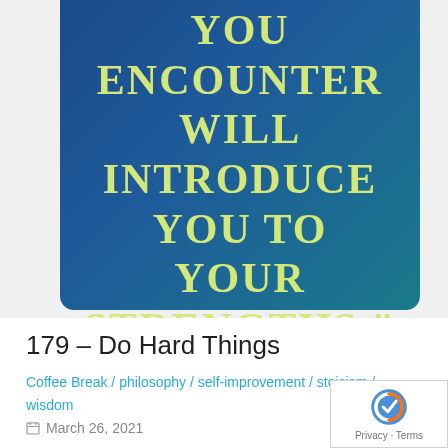[Figure (illustration): Dark blue/teal motivational quote card with yellow-green text: "THE TRIALS YOU ENCOUNTER WILL INTRODUCE YOU TO YOUR STRENGTHS."]
179 – Do Hard Things
Coffee Break / philosophy / self-improvement / stoicism / wisdom
March 26, 2021
One thing that fascinates me about humans is our desire to find the easy way to do almost